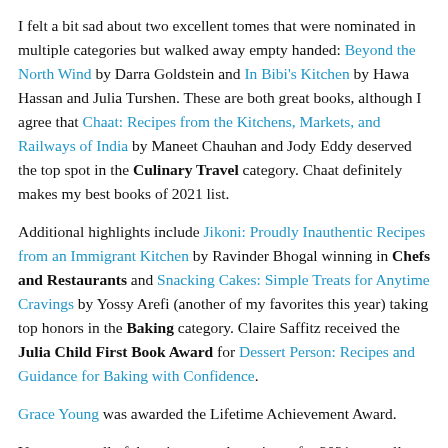I felt a bit sad about two excellent tomes that were nominated in multiple categories but walked away empty handed: Beyond the North Wind by Darra Goldstein and In Bibi's Kitchen by Hawa Hassan and Julia Turshen. These are both great books, although I agree that Chaat: Recipes from the Kitchens, Markets, and Railways of India by Maneet Chauhan and Jody Eddy deserved the top spot in the Culinary Travel category. Chaat definitely makes my best books of 2021 list.
Additional highlights include Jikoni: Proudly Inauthentic Recipes from an Immigrant Kitchen by Ravinder Bhogal winning in Chefs and Restaurants and Snacking Cakes: Simple Treats for Anytime Cravings by Yossy Arefi (another of my favorites this year) taking top honors in the Baking category. Claire Saffitz received the Julia Child First Book Award for Dessert Person: Recipes and Guidance for Baking with Confidence.
Grace Young was awarded the Lifetime Achievement Award.
You can see all of the winners and nominees for 2021, as well as the winners of the Culinary Classics awards, on our IACP Nominees and Winners 2021 page.